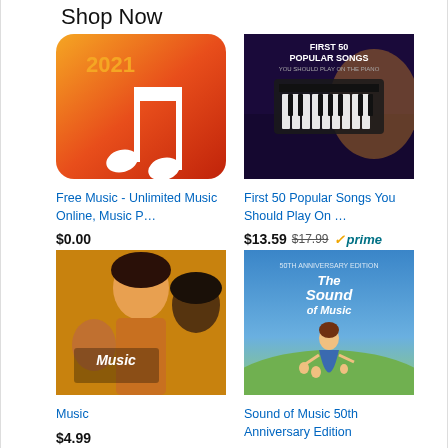Shop Now
[Figure (illustration): App icon for Free Music - orange/red gradient background with white music note and '2021' text]
Free Music - Unlimited Music Online, Music P…
$0.00
★★★★☆ (832)
[Figure (illustration): Book cover: First 50 Popular Songs You Should Play On Piano - dark purple with piano image]
First 50 Popular Songs You Should Play On …
$13.59 $17.99 ✓prime
★★★★½ (2864)
[Figure (illustration): Movie cover: Music film - three people with golden/warm tones]
Music
$4.99
[Figure (illustration): Movie cover: The Sound of Music 50th Anniversary Edition - woman in blue dress on hillside]
Sound of Music 50th Anniversary Edition
$5.00 $19.98 ✓prime